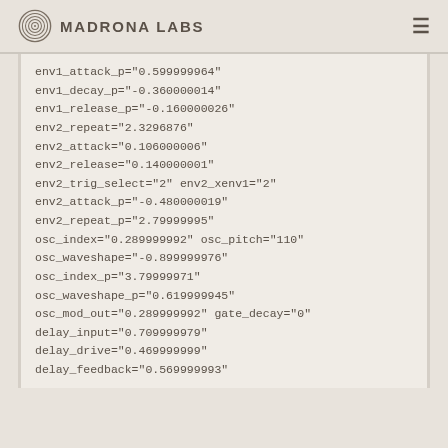Madrona Labs
env1_attack_p="0.599999964"
env1_decay_p="-0.360000014"
env1_release_p="-0.160000026"
env2_repeat="2.3296876"
env2_attack="0.106000006"
env2_release="0.140000001"
env2_trig_select="2" env2_xenv1="2"
env2_attack_p="-0.480000019"
env2_repeat_p="2.79999995"
osc_index="0.289999992" osc_pitch="110"
osc_waveshape="-0.899999976"
osc_index_p="3.79999971"
osc_waveshape_p="0.619999945"
osc_mod_out="0.289999992" gate_decay="0"
delay_input="0.709999979"
delay_drive="0.469999999"
delay_feedback="0.569999993"